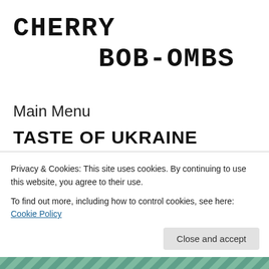CHERRY BOB-OMBS
Main Menu
TASTE OF UKRAINE
August 28, 2015  ·  by fmjon  ·  in Food, St. Albert, Ukrainian.  ·
Taste of Ukraine has been on my radar for ages but I've never been able to make it out there because they're one of those restaurants strictly open for dinner. Boo to that. Well, my pal from Vancouver was in town visiting and we
Privacy & Cookies: This site uses cookies. By continuing to use this website, you agree to their use.
To find out more, including how to control cookies, see here: Cookie Policy
Close and accept